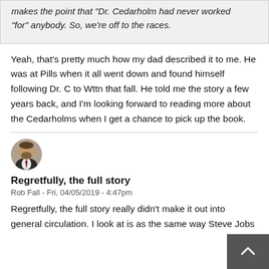makes the point that "Dr. Cedarholm had never worked "for" anybody. So, we're off to the races.
Yeah, that's pretty much how my dad described it to me. He was at Pills when it all went down and found himself following Dr. C to Wttn that fall. He told me the story a few years back, and I'm looking forward to reading more about the Cedarholms when I get a chance to pick up the book.
[Figure (photo): Circular avatar photo of a man wearing a suit and tie]
Regretfully, the full story
Rob Fall - Fri, 04/05/2019 - 4:47pm
Regretfully, the full story really didn't make it out into general circulation. I look at is as the same way Steve Jobs